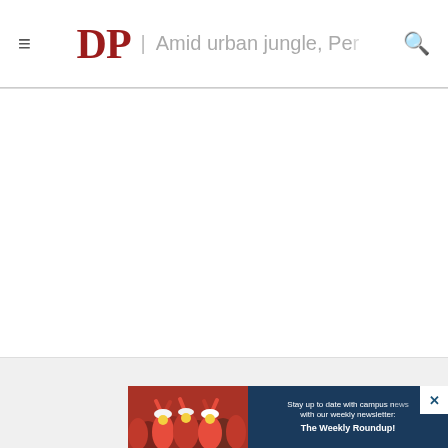DP | Amid urban jungle, Pe
[Figure (screenshot): Blank white content area of a newspaper website (The Daily Pennsylvanian) article page]
[Figure (infographic): Advertisement banner: crowd of students in red shirts on left; dark blue background with text 'Stay up to date with campus news with our weekly newsletter: The Weekly Roundup!' on right, with close (X) button]